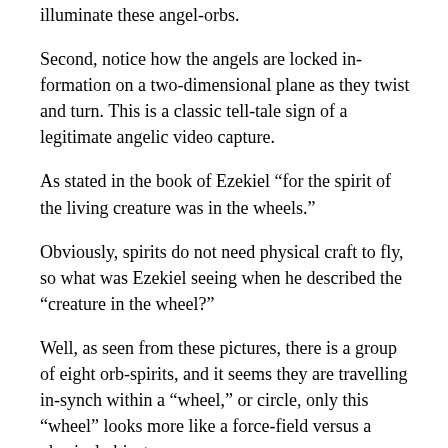illuminate these angel-orbs.
Second, notice how the angels are locked in-formation on a two-dimensional plane as they twist and turn. This is a classic tell-tale sign of a legitimate angelic video capture.
As stated in the book of Ezekiel “for the spirit of the living creature was in the wheels.”
Obviously, spirits do not need physical craft to fly, so what was Ezekiel seeing when he described the “creature in the wheel?”
Well, as seen from these pictures, there is a group of eight orb-spirits, and it seems they are travelling in-synch within a “wheel,” or circle, only this “wheel” looks more like a force-field versus a physical object.
This is an amazing capture, for it shows the two-dimensional force-field “glowing” which the orbs are bound to. What the King James Bible translates as “wheels,” is actually a mis-interpretation for physical objects, for we now know that the “wheel” is actually an